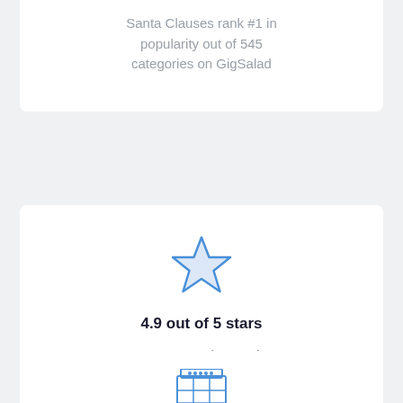Santa Clauses rank #1 in popularity out of 545 categories on GigSalad
[Figure (illustration): Blue outline star icon with light blue/grey fill]
4.9 out of 5 stars
17,706 Santa Claus reviews on GigSalad with an average rating of 4.9 stars
[Figure (illustration): Blue calendar/grid icon with decorative top bar]